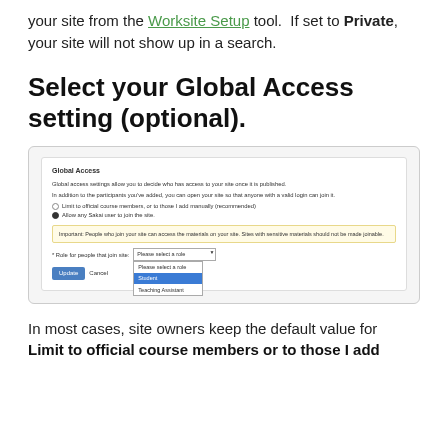your site from the Worksite Setup tool. If set to Private, your site will not show up in a search.
Select your Global Access setting (optional).
[Figure (screenshot): Screenshot of Global Access settings panel showing options: Limit to official course members, Allow any Sakai user to join the site (selected), a warning box about site access, a role dropdown (Please select a role) with Student highlighted and Teaching Assistant below, and Update/Cancel buttons.]
In most cases, site owners keep the default value for Limit to official course members or to those I add